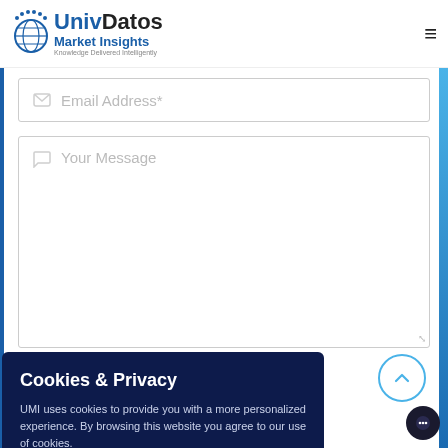[Figure (logo): UnivDatos Market Insights logo with circular globe icon and text 'UnivDatos Market Insights - Knowledge Delivered Intelligently']
[Figure (screenshot): Email Address* input field with envelope icon]
[Figure (screenshot): Your Message textarea with speech bubble icon and resize handle]
Cookies & Privacy
UMI uses cookies to provide you with a more personalized experience. By browsing this website you agree to our use of cookies.
Accept
Decline